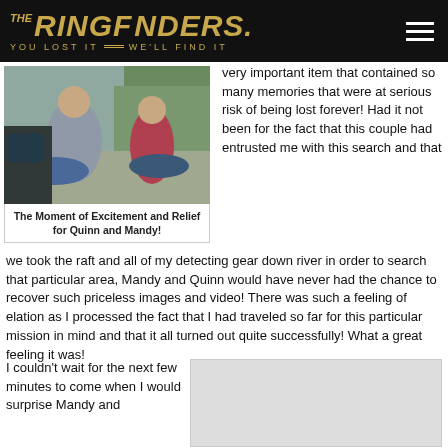THE RINGFINDERS. YOU LOST IT WE'LL FIND IT
[Figure (photo): Photo of two people by rafts outdoors near a river with trees in background]
The Moment of Excitement and Relief for Quinn and Mandy!
very important item that contained so many memories that were at serious risk of being lost forever! Had it not been for the fact that this couple had entrusted me with this search and that we took the raft and all of my detecting gear down river in order to search that particular area, Mandy and Quinn would have never had the chance to recover such priceless images and video! There was such a feeling of elation as I processed the fact that I had traveled so far for this particular mission in mind and that it all turned out quite successfully! What a great feeling it was!
I couldn't wait for the next few minutes to come when I would surprise Mandy and
[Figure (photo): Partially visible image placeholder]